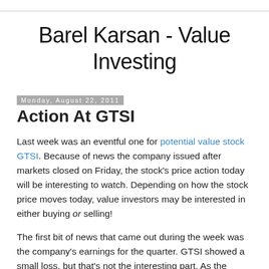Barel Karsan - Value Investing
Monday, August 22, 2011
Action At GTSI
Last week was an eventful one for potential value stock GTSI. Because of news the company issued after markets closed on Friday, the stock's price action today will be interesting to watch. Depending on how the stock price moves today, value investors may be interested in either buying or selling!
The first bit of news that came out during the week was the company's earnings for the quarter. GTSI showed a small loss, but that's not the interesting part. As the company